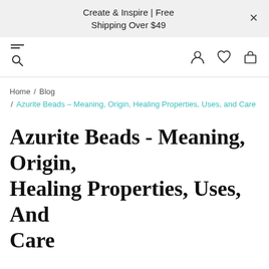Create & Inspire | Free Shipping Over $49
Home / Blog / Azurite Beads - Meaning, Origin, Healing Properties, Uses, and Care
Azurite Beads - Meaning, Origin, Healing Properties, Uses, And Care